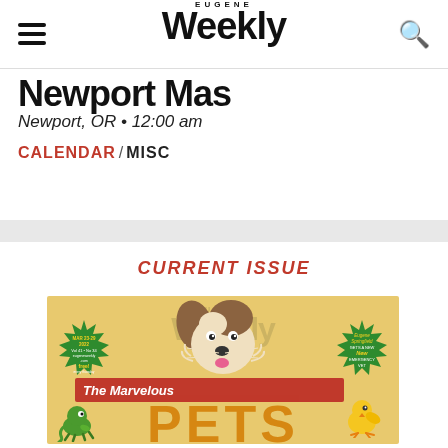EUGENE Weekly
Newport Mas
Newport, OR • 12:00 am
CALENDAR / MISC
CURRENT ISSUE
[Figure (illustration): Eugene Weekly magazine cover showing illustrated dog, chameleon, and chick with headline 'The Marvelous PETS'. Green starburst badges on left and right sides. Tan/yellow background with Eugene Weekly logo watermark.]